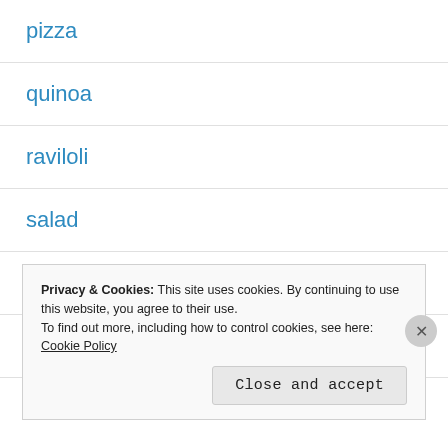pizza
quinoa
raviloli
salad
side dish
soup
taco
Privacy & Cookies: This site uses cookies. By continuing to use this website, you agree to their use.
To find out more, including how to control cookies, see here: Cookie Policy
Close and accept